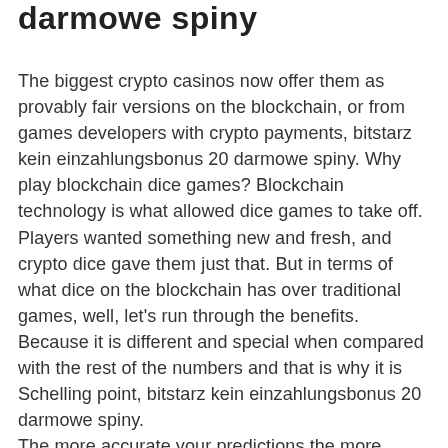darmowe spiny
The biggest crypto casinos now offer them as provably fair versions on the blockchain, or from games developers with crypto payments, bitstarz kein einzahlungsbonus 20 darmowe spiny. Why play blockchain dice games? Blockchain technology is what allowed dice games to take off. Players wanted something new and fresh, and crypto dice gave them just that. But in terms of what dice on the blockchain has over traditional games, well, let's run through the benefits. Because it is different and special when compared with the rest of the numbers and that is why it is Schelling point, bitstarz kein einzahlungsbonus 20 darmowe spiny. The more accurate your predictions the more points you earn. Once you have enough points you can cash out your earnings in BTC. Spark Profit was launched in 2013 and claims to have disbursed over half a million